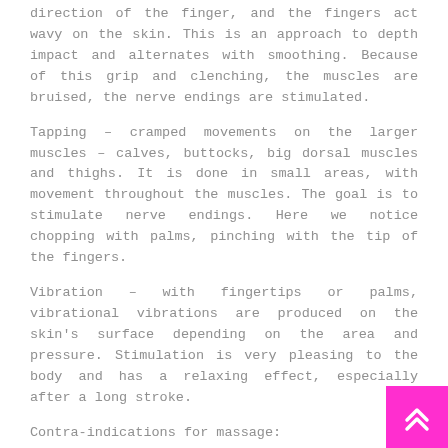direction of the finger, and the fingers act wavy on the skin. This is an approach to depth impact and alternates with smoothing. Because of this grip and clenching, the muscles are bruised, the nerve endings are stimulated.
Tapping – cramped movements on the larger muscles – calves, buttocks, big dorsal muscles and thighs. It is done in small areas, with movement throughout the muscles. The goal is to stimulate nerve endings. Here we notice chopping with palms, pinching with the tip of the fingers.
Vibration – with fingertips or palms, vibrational vibrations are produced on the skin's surface depending on the area and pressure. Stimulation is very pleasing to the body and has a relaxing effect, especially after a long stroke.
Contra-indications for massage:
No matter how strange it sounds, there are some. The impact of the massage can be much deeper than we suppose. It stimulates metabolism, blood and lymph flow, hormonal production and traffic, the nervous system.
Fever and any feverish condition.
[Figure (other): Pink/magenta back-to-top button with double chevron arrow icon in bottom right corner]